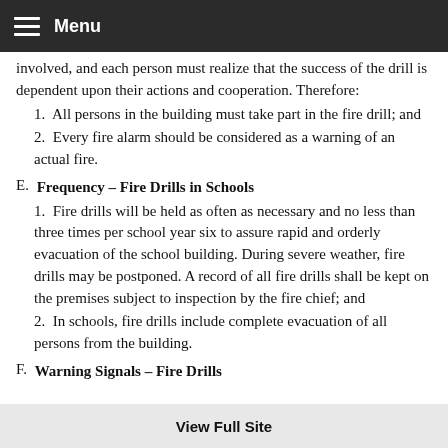Menu
involved, and each person must realize that the success of the drill is dependent upon their actions and cooperation. Therefore:
1.  All persons in the building must take part in the fire drill; and
2.  Every fire alarm should be considered as a warning of an actual fire.
E.  Frequency – Fire Drills in Schools
1.  Fire drills will be held as often as necessary and no less than three times per school year six to assure rapid and orderly evacuation of the school building. During severe weather, fire drills may be postponed. A record of all fire drills shall be kept on the premises subject to inspection by the fire chief; and
2.  In schools, fire drills include complete evacuation of all persons from the building.
F.  Warning Signals – Fire Drills
View Full Site